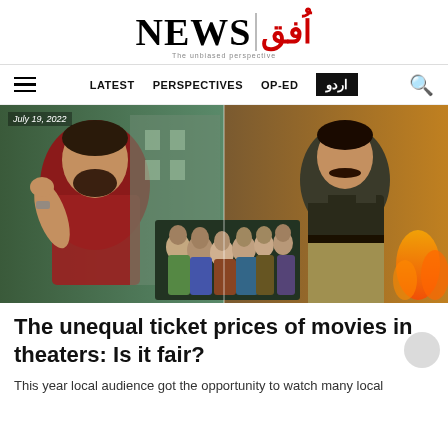NEWS — The unbiased perspective
LATEST   PERSPECTIVES   OP-ED   اردو
[Figure (photo): Movie poster collage showing three Pakistani/South Asian film promotional images: a man in a red shirt on the left, a group of young people in the center bottom, and a uniformed man on the right with fire in background. Date badge reads July 19, 2022.]
The unequal ticket prices of movies in theaters: Is it fair?
This year local audience got the opportunity to watch many local